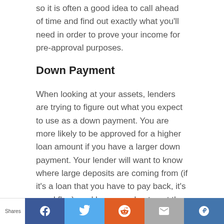so it is often a good idea to call ahead of time and find out exactly what you'll need in order to prove your income for pre-approval purposes.
Down Payment
When looking at your assets, lenders are trying to figure out what you expect to use as a down payment. You are more likely to be approved for a higher loan amount if you have a larger down payment. Your lender will want to know where large deposits are coming from (if it's a loan that you have to pay back, it's a red flag), and how you plan to get the money for your down payment. If you can show that you've saved up,
Shares | Facebook | Twitter | Reddit | Email | StumbleUpon